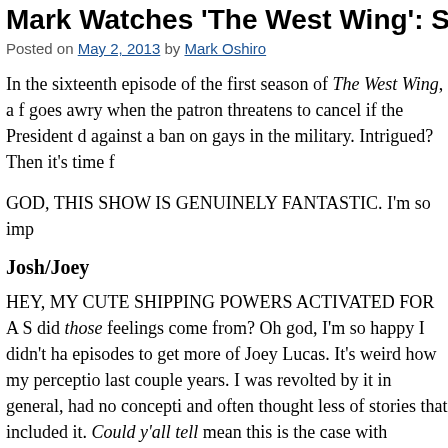Mark Watches 'The West Wing': S01E16 –
Posted on May 2, 2013 by Mark Oshiro
In the sixteenth episode of the first season of The West Wing, a f goes awry when the patron threatens to cancel if the President d against a ban on gays in the military. Intrigued? Then it's time f
GOD, THIS SHOW IS GENUINELY FANTASTIC. I'm so imp
Josh/Joey
HEY, MY CUTE SHIPPING POWERS ACTIVATED FOR A S did those feelings come from? Oh god, I'm so happy I didn't ha episodes to get more of Joey Lucas. It's weird how my perceptio last couple years. I was revolted by it in general, had no concepti and often thought less of stories that included it. Could y'all tell mean this is the case with everyone, obviously. There are aroma probably tire of romance-centric stories, so I don't want to make might not to be into this sort of stuff is because they're sad bitte case! When I started Mark Reads Harry Potter as a thing, I'd ju